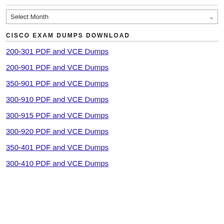[Figure (other): Select Month dropdown widget]
CISCO EXAM DUMPS DOWNLOAD
200-301 PDF and VCE Dumps
200-901 PDF and VCE Dumps
350-901 PDF and VCE Dumps
300-910 PDF and VCE Dumps
300-915 PDF and VCE Dumps
300-920 PDF and VCE Dumps
350-401 PDF and VCE Dumps
300-410 PDF and VCE Dumps